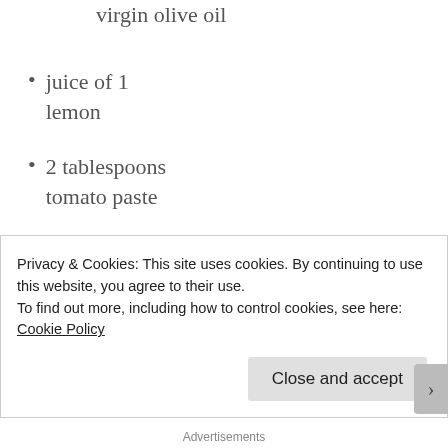5 tbl extra virgin olive oil
juice of 1 lemon
2 tablespoons tomato paste
1/4 teaspoon salt
5 garlic cloves, chopped fine
1 teaspoon ground cumin seed
Privacy & Cookies: This site uses cookies. By continuing to use this website, you agree to their use.
To find out more, including how to control cookies, see here: Cookie Policy
Advertisements